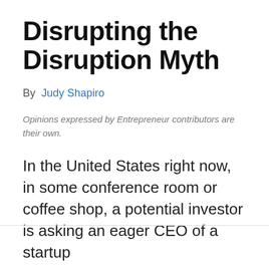Disrupting the Disruption Myth
By Judy Shapiro
Opinions expressed by Entrepreneur contributors are their own.
In the United States right now, in some conference room or coffee shop, a potential investor is asking an eager CEO of a startup